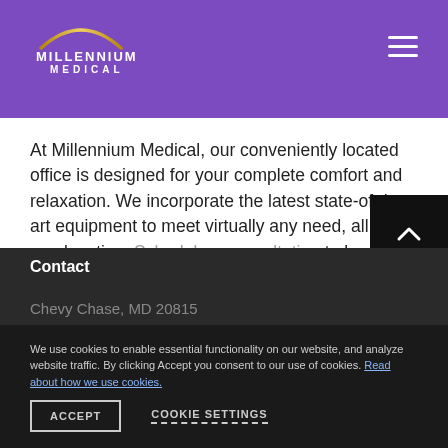[Figure (logo): Millennium Medical logo with arc graphic on purple header background]
At Millennium Medical, our conveniently located office is designed for your complete comfort and relaxation. We incorporate the latest state-of-the-art equipment to meet virtually any need, all in one location. Schedule a consultation to learn more about how we can help to highlight your natural beauty.
Contact
We use cookies to enable essential functionality on our website, and analyze website traffic. By clicking Accept you consent to our use of cookies. Read about how we use cookies.
Chevy Chase, MD 20815
301-660-4343
Get Directions